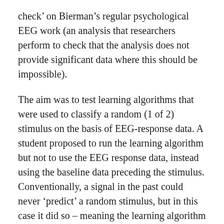check' on Bierman's regular psychological EEG work (an analysis that researchers perform to check that the analysis does not provide significant data where this should be impossible).
The aim was to test learning algorithms that were used to classify a random (1 of 2) stimulus on the basis of EEG-response data. A student proposed to run the learning algorithm but not to use the EEG response data, instead using the baseline data preceding the stimulus. Conventionally, a signal in the past could never 'predict' a random stimulus, but in this case it did so – meaning the learning algorithm failed the sanity check. However, nothing was found that could explain this surprising result.
In the standard experiment, the task involves identifying a schematic face in the middle of a series of rapidly presented (100 ms) white noise images. A random